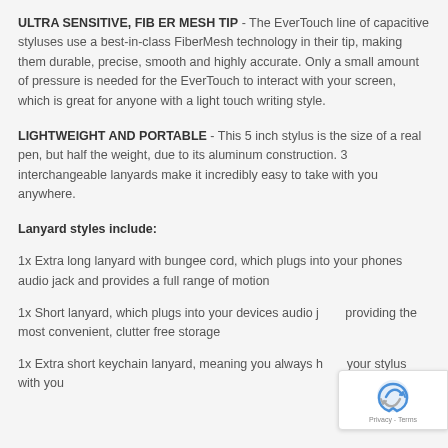ULTRA SENSITIVE, FIB ER MESH TIP - The EverTouch line of capacitive styluses use a best-in-class FiberMesh technology in their tip, making them durable, precise, smooth and highly accurate. Only a small amount of pressure is needed for the EverTouch to interact with your screen, which is great for anyone with a light touch writing style.
LIGHTWEIGHT AND PORTABLE - This 5 inch stylus is the size of a real pen, but half the weight, due to its aluminum construction. 3 interchangeable lanyards make it incredibly easy to take with you anywhere.
Lanyard styles include:
1x Extra long lanyard with bungee cord, which plugs into your phones audio jack and provides a full range of motion
1x Short lanyard, which plugs into your devices audio jack providing the most convenient, clutter free storage
1x Extra short keychain lanyard, meaning you always have your stylus with you